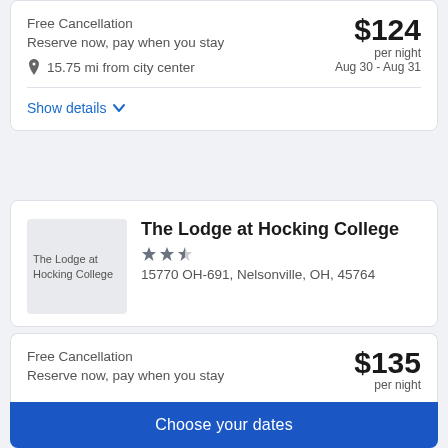Free Cancellation
Reserve now, pay when you stay
15.75 mi from city center
$124 per night
Aug 30 - Aug 31
Show details
The Lodge at Hocking College
15770 OH-691, Nelsonville, OH, 45764
Free Cancellation
Reserve now, pay when you stay
$135 per night
Choose your dates